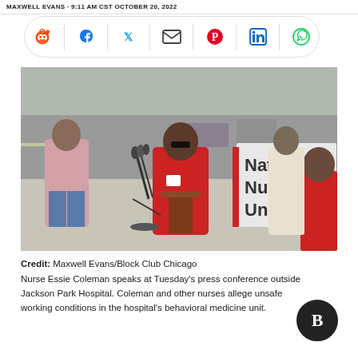MAXWELL EVANS · 9:11 AM CST OCTOBER 20, 2022
[Figure (other): Social media share bar with icons: Reddit, Facebook, Twitter, Email, Pinterest, LinkedIn, WhatsApp]
[Figure (photo): Nurse Essie Coleman speaks at a podium with microphones at a press conference outside Jackson Park Hospital. She wears a red jacket. Behind her, people hold a 'National Nurses United' banner. News cameras are visible.]
Credit: Maxwell Evans/Block Club Chicago
Nurse Essie Coleman speaks at Tuesday's press conference outside Jackson Park Hospital. Coleman and other nurses allege unsafe working conditions in the hospital's behavioral medicine unit.